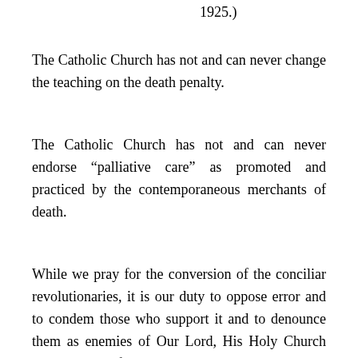1925.)
The Catholic Church has not and can never change the teaching on the death penalty.
The Catholic Church has not and can never endorse “palliative care” as promoted and practiced by the contemporaneous merchants of death.
While we pray for the conversion of the conciliar revolutionaries, it is our duty to oppose error and to condem those who support it and to denounce them as enemies of Our Lord, His Holy Church and the good of souls.
Who says so?
Well, Pope Saint Pius X was just one of scores